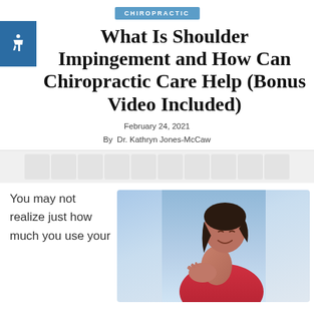CHIROPRACTIC
What Is Shoulder Impingement and How Can Chiropractic Care Help (Bonus Video Included)
February 24, 2021
By  Dr. Kathryn Jones-McCaw
[Figure (other): Social sharing icons bar with silhouette person/share icons repeated across a light gray banner]
You may not realize just how much you use your
[Figure (photo): Woman in red top grimacing and holding her shoulder in pain, with blue sky background]